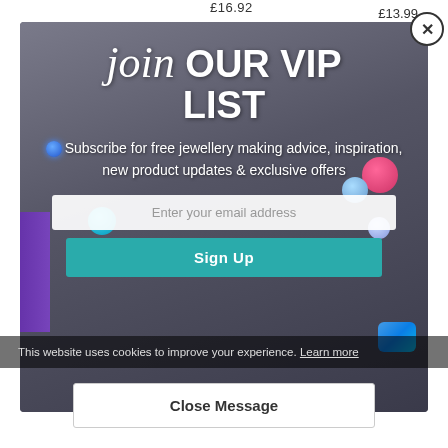£16.92
£13.99
[Figure (photo): Modal popup on a jewellery website showing gemstones, necklaces, and jewellery-making tools on a dark grey background]
join OUR VIP LIST
Subscribe for free jewellery making advice, inspiration, new product updates & exclusive offers
Enter your email address
Sign Up
This website uses cookies to improve your experience. Learn more
Close Message